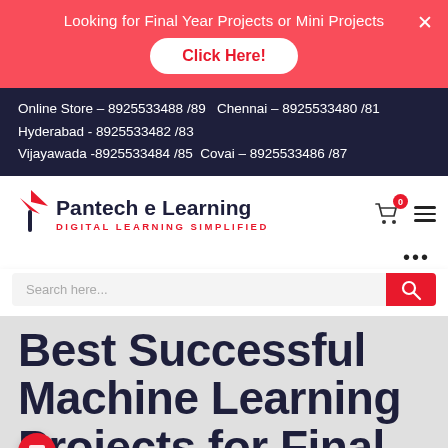Looking for Final Year Projects or Mini Projects
Click Here!
Online Store – 8925533488 /89   Chennai – 8925533480 /81
Hyderabad - 8925533482 /83
Vijayawada -8925533484 /85  Covai – 8925533486 /87
[Figure (logo): Pantech e Learning logo with red arrow/feather icon and tagline DIGITAL LEARNING SIMPLIFIED]
Search here...
Best Successful Machine Learning Projects for Final